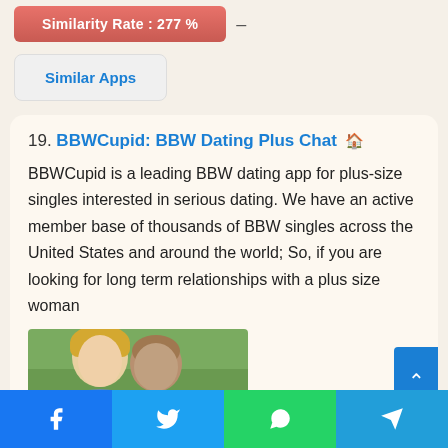Similarity Rate : 277 %
Similar Apps
19. BBWCupid: BBW Dating Plus Chat 🏠 BBWCupid is a leading BBW dating app for plus-size singles interested in serious dating. We have an active member base of thousands of BBW singles across the United States and around the world; So, if you are looking for long term relationships with a plus size woman
[Figure (photo): Photo of a couple, a blonde woman and a bald man together outdoors with green background]
Facebook  Twitter  WhatsApp  Telegram share buttons